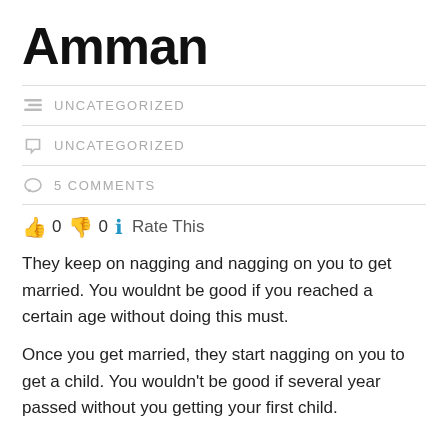Amman
UNCATEGORIZED
UNCATEGORIZED
5 COMMENTS
👍 0 👎 0 ℹ Rate This
They keep on nagging and nagging on you to get married. You wouldnt be good if you reached a certain age without doing this must.
Once you get married, they start nagging on you to get a child. You wouldn't be good if several year passed without you getting your first child.